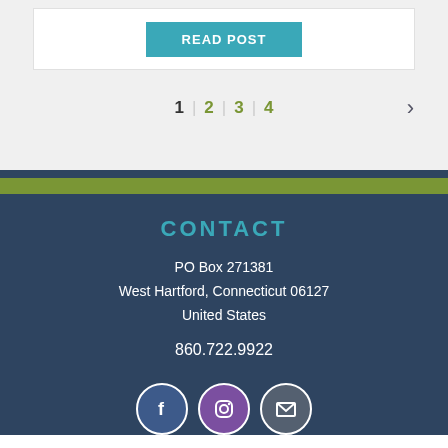READ POST
1 | 2 | 3 | 4 >
CONTACT
PO Box 271381
West Hartford, Connecticut 06127
United States
860.722.9922
[Figure (infographic): Social media icons: Facebook (blue circle), Instagram (purple circle), Mail (gray circle)]